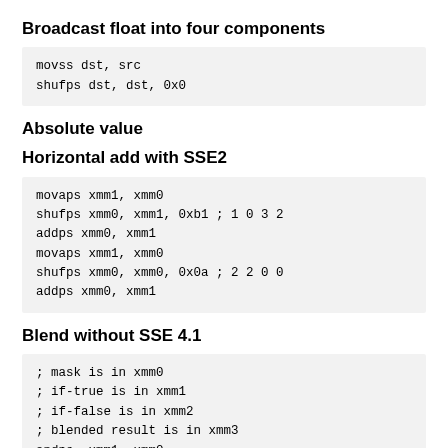Broadcast float into four components
movss dst, src
shufps dst, dst, 0x0
Absolute value
Horizontal add with SSE2
movaps xmm1, xmm0
shufps xmm0, xmm1, 0xb1 ; 1 0 3 2
addps xmm0, xmm1
movaps xmm1, xmm0
shufps xmm0, xmm0, 0x0a ; 2 2 0 0
addps xmm0, xmm1
Blend without SSE 4.1
; mask is in xmm0
; if-true is in xmm1
; if-false is in xmm2
; blended result is in xmm3
andps  xmm1, xmm0
andnps xmm2, xmm0